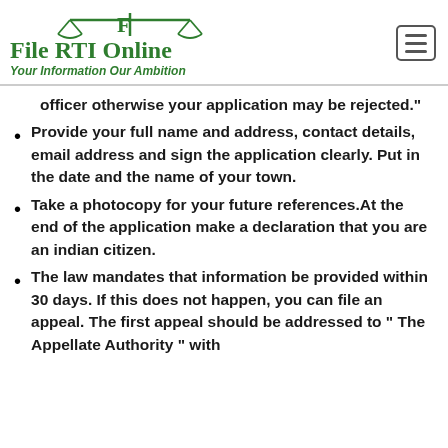File RTI Online — Your Information Our Ambition
officer otherwise your application may be rejected."
Provide your full name and address, contact details, email address and sign the application clearly. Put in the date and the name of your town.
Take a photocopy for your future references.At the end of the application make a declaration that you are an indian citizen.
The law mandates that information be provided within 30 days. If this does not happen, you can file an appeal. The first appeal should be addressed to " The Appellate Authority " with